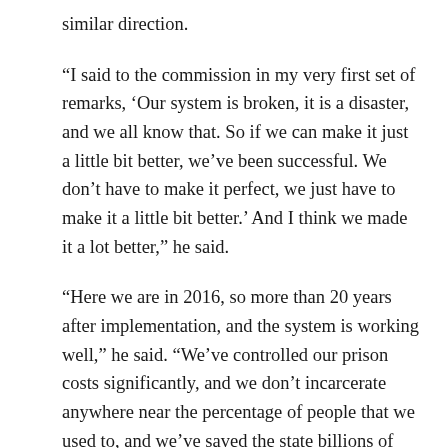similar direction.
“I said to the commission in my very first set of remarks, ‘Our system is broken, it is a disaster, and we all know that. So if we can make it just a little bit better, we’ve been successful. We don’t have to make it perfect, we just have to make it a little bit better.’ And I think we made it a lot better,” he said.
“Here we are in 2016, so more than 20 years after implementation, and the system is working well,” he said. “We’ve controlled our prison costs significantly, and we don’t incarcerate anywhere near the percentage of people that we used to, and we’ve saved the state billions of dollars, yet public safety has not been compromised at all.”